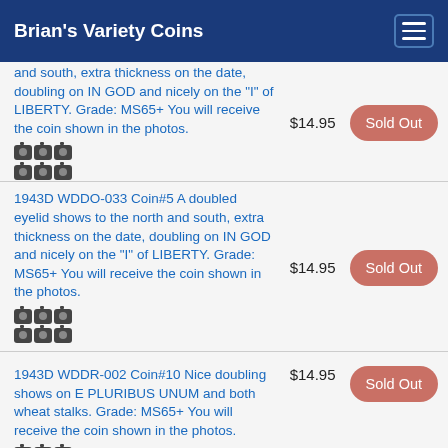Brian's Variety Coins
and south, extra thickness on the date, doubling on IN GOD and nicely on the "I" of LIBERTY. Grade: MS65+ You will receive the coin shown in the photos.
$14.95
Sold Out
1943D WDDO-033 Coin#5 A doubled eyelid shows to the north and south, extra thickness on the date, doubling on IN GOD and nicely on the "I" of LIBERTY. Grade: MS65+ You will receive the coin shown in the photos.
$14.95
Sold Out
1943D WDDR-002 Coin#10 Nice doubling shows on E PLURIBUS UNUM and both wheat stalks. Grade: MS65+ You will receive the coin shown in the photos.
$14.95
Sold Out